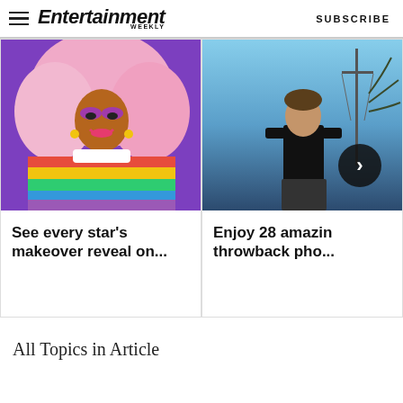Entertainment Weekly — SUBSCRIBE
[Figure (photo): Colorful drag performer in rainbow costume with large pink wig]
See every star's makeover reveal on...
[Figure (photo): Man in black t-shirt outdoors with navigation arrow overlay]
Enjoy 28 amazing throwback pho...
All Topics in Article